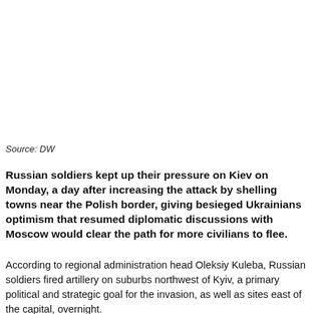Source: DW
Russian soldiers kept up their pressure on Kiev on Monday, a day after increasing the attack by shelling towns near the Polish border, giving besieged Ukrainians optimism that resumed diplomatic discussions with Moscow would clear the path for more civilians to flee.
According to regional administration head Oleksiy Kuleba, Russian soldiers fired artillery on suburbs northwest of Kyiv, a primary political and strategic goal for the invasion, as well as sites east of the capital, overnight.